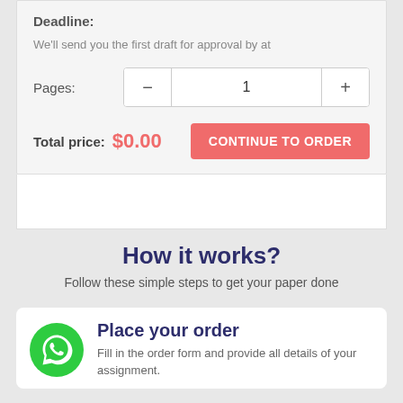Deadline:
We'll send you the first draft for approval by at
Pages: 1
Total price: $0.00
CONTINUE TO ORDER
How it works?
Follow these simple steps to get your paper done
Place your order
Fill in the order form and provide all details of your assignment.